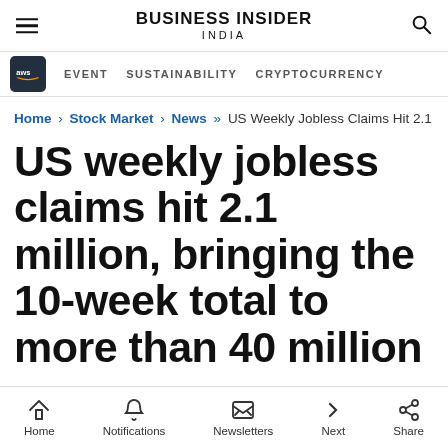BUSINESS INSIDER INDIA
EVENT   SUSTAINABILITY   CRYPTOCURRENCY
Home › Stock Market › News »» US Weekly Jobless Claims Hit 2.1
US weekly jobless claims hit 2.1 million, bringing the 10-week total to more than 40 million
Home   Notifications   Newsletters   Next   Share